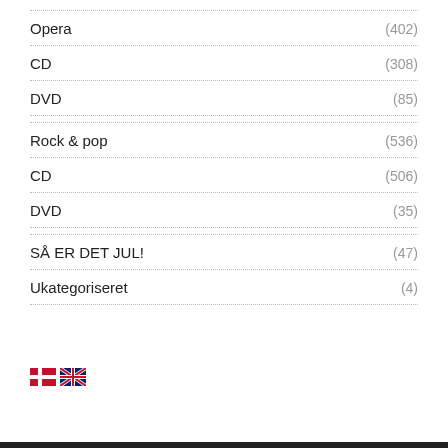Opera (402)
CD (308)
DVD (85)
Rock & pop (536)
CD (506)
DVD (35)
SÅ ER DET JUL! (47)
Ukategoriseret (4)
[Figure (illustration): Danish flag and UK flag icons for language selection]